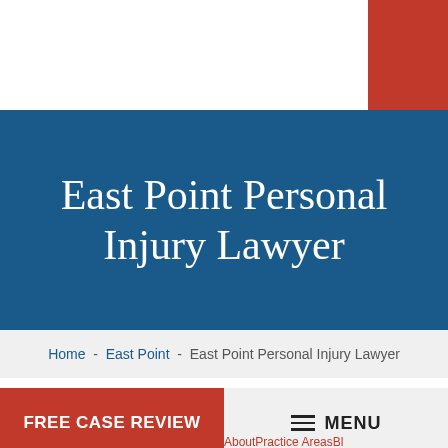East Point Personal Injury Lawyer
Home - East Point - East Point Personal Injury Lawyer
Accidental injuries can occur anywhere, and East Point
FREE CASE REVIEW
MENU
AboutPractice AreasBl